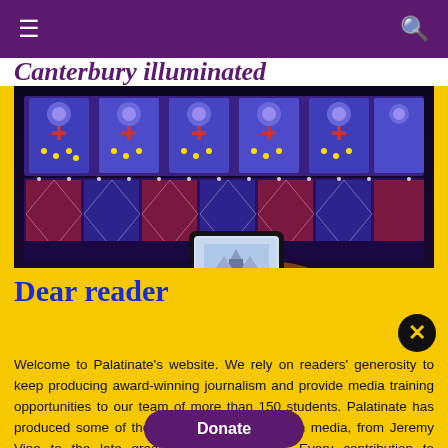≡  🔍
Canterbury illuminated
[Figure (photo): A photograph of a colorful illuminated building facade at night, with decorative patterns in blue, red, and yellow lights. A person holds up a smartphone to photograph the display.]
Dear reader
Welcome to Palatinate's website. We rely on readers' generosity to keep producing award-winning journalism and provide media training opportunities to our team of more than 150 students. Palatinate has produced some of the biggest names in British media, from Jeremy Vine to the late great Sir Harold Evans. Every contribution to Palatinate is an investment into the future of journalism.
Donate